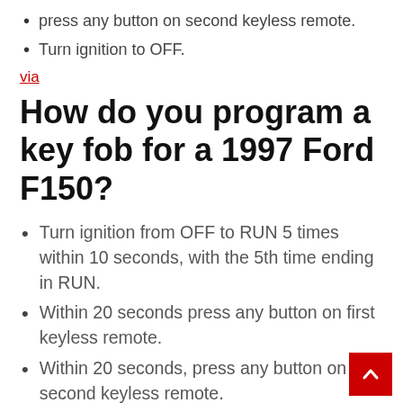press any button on second keyless remote.
Turn ignition to OFF.
via
How do you program a key fob for a 1997 Ford F150?
Turn ignition from OFF to RUN 5 times within 10 seconds, with the 5th time ending in RUN.
Within 20 seconds press any button on first keyless remote.
Within 20 seconds, press any button on second keyless remote.
Turn ignition to OFF.